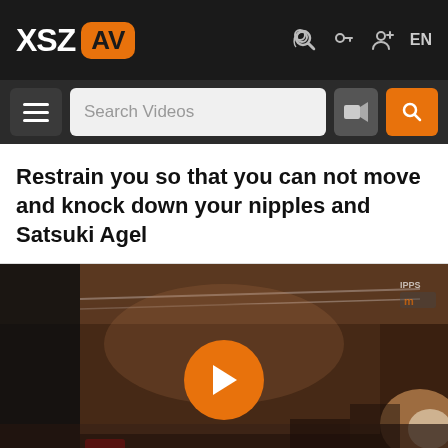XSZ AV
Search Videos
Restrain you so that you can not move and knock down your nipples and Satsuki Agel
[Figure (screenshot): Dark video thumbnail showing a dimly lit interior room with a play button overlay in orange]